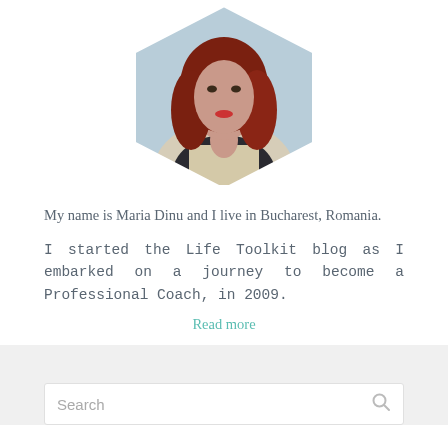[Figure (photo): Portrait photo of a woman with long red hair wearing a light beige jacket, displayed in a hexagonal frame against a light blue background.]
My name is Maria Dinu and I live in Bucharest, Romania.
I started the Life Toolkit blog as I embarked on a journey to become a Professional Coach, in 2009.
Read more